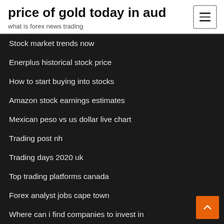price of gold today in aud
what is forex news trading
Stock market trends now
Enerplus historical stock price
How to start buying into stocks
Amazon stock earnings estimates
Mexican peso vs us dollar live chart
Trading post nh
Trading days 2020 uk
Top trading platforms canada
Forex analyst jobs cape town
Where can i find companies to invest in